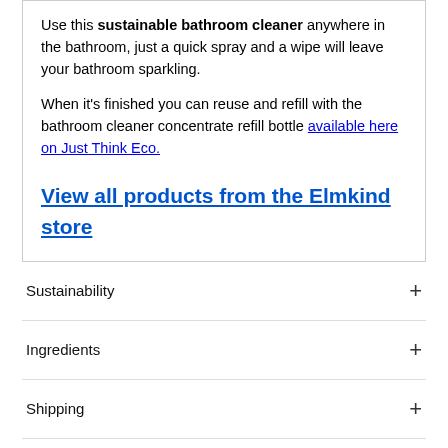Use this sustainable bathroom cleaner anywhere in the bathroom, just a quick spray and a wipe will leave your bathroom sparkling.
When it's finished you can reuse and refill with the bathroom cleaner concentrate refill bottle available here on Just Think Eco.
View all products from the Elmkind store
Sustainability
Ingredients
Shipping
Charitable Donations
Returns & Refunds